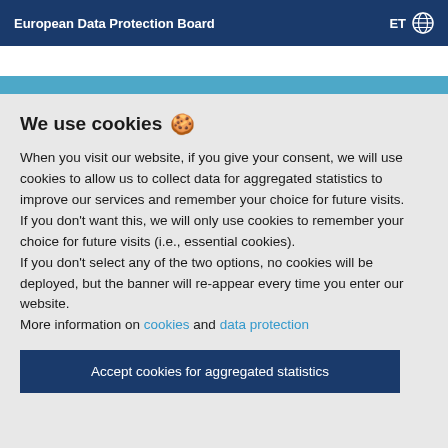European Data Protection Board  ET 🌐
We use cookies 🍪
When you visit our website, if you give your consent, we will use cookies to allow us to collect data for aggregated statistics to improve our services and remember your choice for future visits.
If you don't want this, we will only use cookies to remember your choice for future visits (i.e., essential cookies).
If you don't select any of the two options, no cookies will be deployed, but the banner will re-appear every time you enter our website.
More information on cookies and data protection
Accept cookies for aggregated statistics